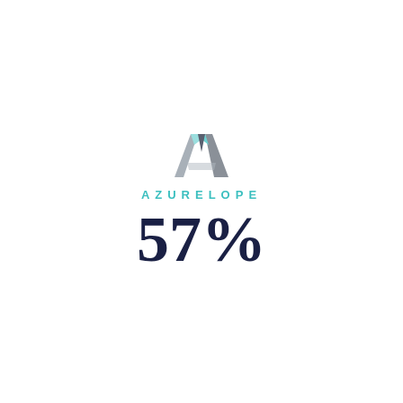[Figure (logo): Azurelope logo: stylized letter A with teal and grey geometric facets]
AZURELOPE
57%